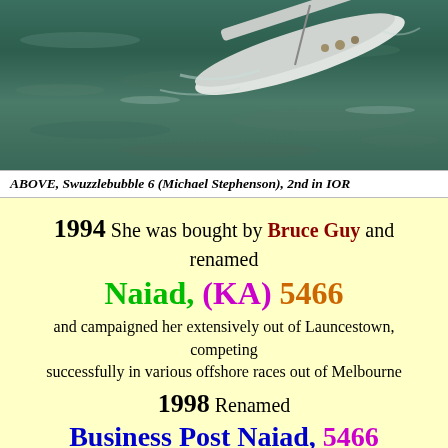[Figure (photo): Aerial photo of sailing yacht Swuzzlebubble 6 on choppy green water, viewed from above and slightly behind]
ABOVE, Swuzzlebubble 6 (Michael Stephenson), 2nd in IOR
1994 She was bought by Bruce Guy and renamed Naiad, (KA) 5466 and campaigned her extensively out of Launcestown, competing successfully in various offshore races out of Melbourne
1998 Renamed Business Post Naiad, 5466
[Figure (photo): Photo of sailing yacht from below looking up at large white sail against blue sky with clouds]